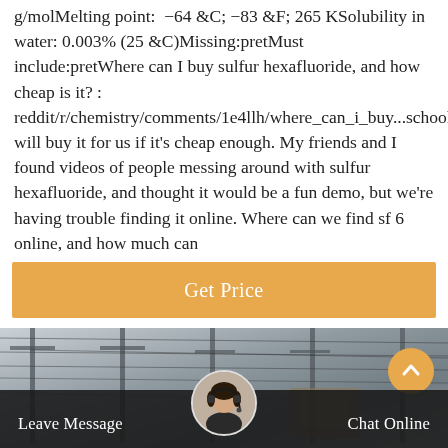g/molMelting point: −64 °C; −83 °F; 265 KSolubility in water: 0.003% (25 °C)Missing:pretMust include:pretWhere can I buy sulfur hexafluoride, and how cheap is it? : reddit/r/chemistry/comments/1e4llh/where_can_i_buy...school will buy it for us if it's cheap enough. My friends and I found videos of people messing around with sulfur hexafluoride, and thought it would be a fun demo, but we're having trouble finding it online. Where can we find sf 6 online, and how much can
[Figure (other): Orange 'Get Price' button]
[Figure (photo): Blurred background photo of electrical power transmission towers/substation with overhead lines]
[Figure (other): Orange circular upward arrow button (scroll-to-top)]
[Figure (photo): Circular avatar photo of a woman wearing a headset/microphone, customer service representative]
Leave Message
Chat Online